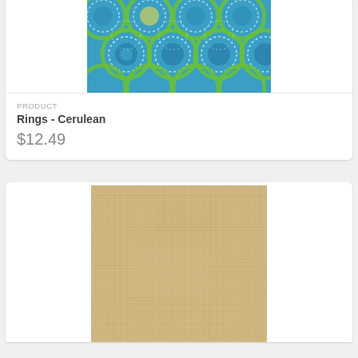[Figure (photo): Blue and green rings/medallion fabric pattern on cerulean background]
PRODUCT
Rings - Cerulean
$12.49
[Figure (photo): Beige/natural woven burlap texture fabric swatch]